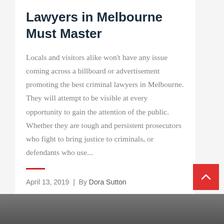Lawyers in Melbourne Must Master
Locals and visitors alike won't have any issue coming across a billboard or advertisement promoting the best criminal lawyers in Melbourne. They will attempt to be visible at every opportunity to gain the attention of the public. Whether they are tough and persistent prosecutors who fight to bring justice to criminals, or defendants who use...
April 13, 2019  |  By Dora Sutton